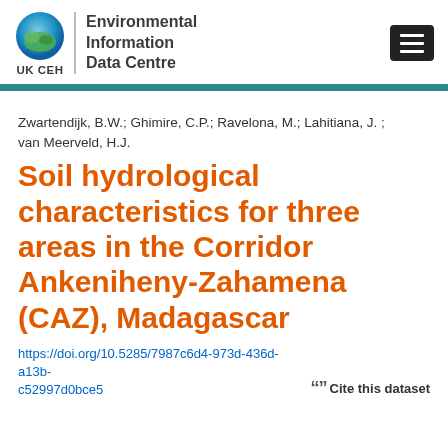[Figure (logo): UKCEH Environmental Information Data Centre logo with globe icon]
Zwartendijk, B.W.; Ghimire, C.P.; Ravelona, M.; Lahitiana, J. ; van Meerveld, H.J.
Soil hydrological characteristics for three areas in the Corridor Ankeniheny-Zahamena (CAZ), Madagascar
https://doi.org/10.5285/7987c6d4-973d-436d-a13b-c52997d0bce5
Cite this dataset